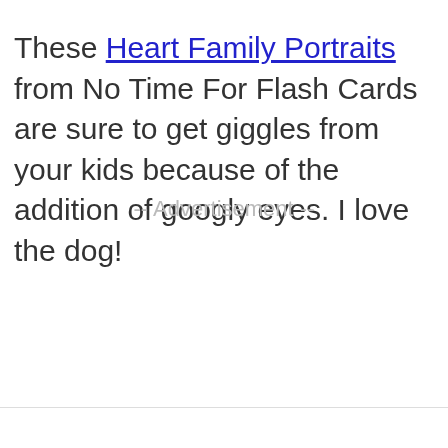These Heart Family Portraits from No Time For Flash Cards are sure to get giggles from your kids because of the addition of googly eyes. I love the dog!
-- Advertisement --